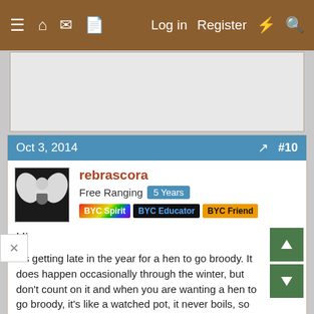≡  🏠  💬  📄   Log in   Register  ⚡  🔍
[Figure (other): Advertisement placeholder area, light gray background]
Oct 3, 2014   #10
[Figure (photo): Avatar image of user rebrascora showing a figure dressed in white with wings against a dark background]
rebrascora
Free Ranging  5 Years
BYC Spirit  BYC Educator  BYC Friend
Hi

It's getting late in the year for a hen to go broody. It does happen occasionally through the winter, but don't count on it and when you are wanting a hen to go broody, it's like a watched pot, it never boils, so don't expect to get one of
the suggested breeds and for it to go broody and raise chicks any time soon.